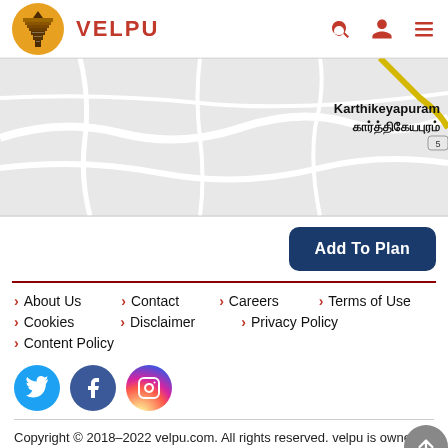VELPU
[Figure (map): Google map showing Karthikeyapuram / கார்த்திகேயபுரம் area with road network in grey tones]
Add To Plan
About Us
Contact
Careers
Terms of Use
Cookies
Disclaimer
Privacy Policy
Content Policy
[Figure (logo): Social media icons: Twitter (blue), Facebook (dark blue), Instagram (gradient)]
Copyright © 2018–2022 velpu.com. All rights reserved. velpu is owned by Prayanam Travel Technologies Limited.